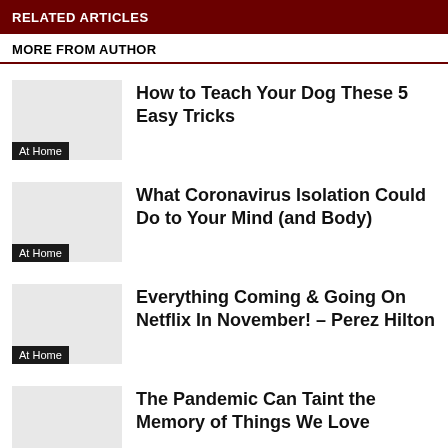RELATED ARTICLES
MORE FROM AUTHOR
How to Teach Your Dog These 5 Easy Tricks
At Home
What Coronavirus Isolation Could Do to Your Mind (and Body)
At Home
Everything Coming & Going On Netflix In November! – Perez Hilton
At Home
The Pandemic Can Taint the Memory of Things We Love